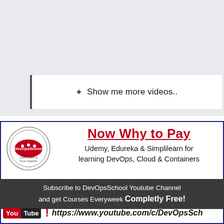[Figure (screenshot): Top gray background section of a website UI]
+ Show me more videos..
[Figure (infographic): DevOpsSchool advertisement banner with logo, headline, subscribe bar, and YouTube link]
Now Why to Pay
Udemy, Edureka & Simplilearn for learning DevOps, Cloud & Containers
Subscribe to DevOpsSchool Youtube Channel and get Courses Everyweek Completly Free!
You Tube ! https://www.youtube.com/c/DevOpsSch